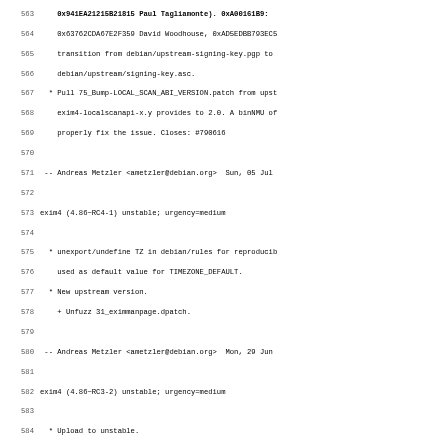Lines 564-595 of a Debian changelog for exim4 package showing version entries and maintainer signatures
564: 0x63762CDA67E2F359 David Woodhouse, 0xAD5EDBB793EC5
565: transition from debian/upstream-signing-key.pgp to
566: debian/upstream/signing-key.asc.
567: * Pull 75_Bump-LOCAL_SCAN_ABI_VERSION.patch from upst
568: exim4-localscanapi-x.y provides to 2.0. A binNMU of
569: properly fix the issue. Closes: #790616
571: -- Andreas Metzler <ametzler@debian.org>  Sun, 05 Jul
573: exim4 (4.86~RC4-1) unstable; urgency=medium
575: * unexport/undefine TZ in debian/rules for reproducib
576: used as default value for TIMEZONE_DEFAULT.
577: * New upstream version.
578: + Unfuzz 31_eximmanpage.dpatch.
580: -- Andreas Metzler <ametzler@debian.org>  Mon, 29 Jun
582: exim4 (4.86~RC3-2) unstable; urgency=medium
584: * Upload to unstable.
586: -- Andreas Metzler <ametzler@debian.org>  Tue, 23 Jun
588: exim4 (4.86~RC3-1) experimental; urgency=medium
590: * Don't provide default-mta on Ubuntu and Ubuntu-deri
591: 1166671.
592: * New upstream version.
594: -- Andreas Metzler <ametzler@debian.org>  Mon, 22 Jun